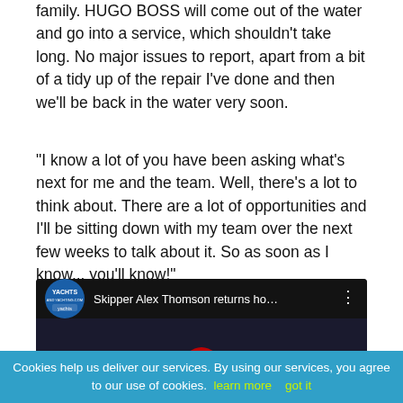family. HUGO BOSS will come out of the water and go into a service, which shouldn't take long. No major issues to report, apart from a bit of a tidy up of the repair I've done and then we'll be back in the water very soon.
"I know a lot of you have been asking what's next for me and the team. Well, there's a lot to think about. There are a lot of opportunities and I'll be sitting down with my team over the next few weeks to talk about it. So as soon as I know... you'll know!"
[Figure (screenshot): Embedded YouTube video player showing 'Skipper Alex Thomson returns ho...' with a dark thumbnail of a person in a red jacket near a harbor and city skyline. Yachts and Yachting logo in top-left corner.]
Cookies help us deliver our services. By using our services, you agree to our use of cookies. learn more  got it